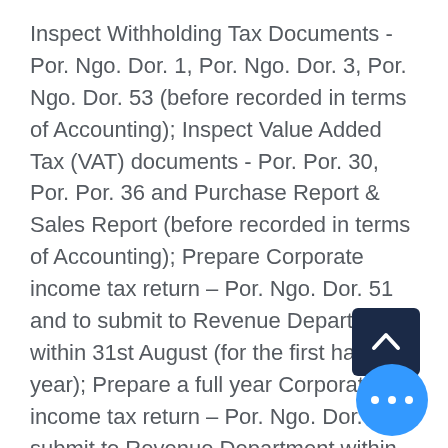Inspect Withholding Tax Documents - Por. Ngo. Dor. 1, Por. Ngo. Dor. 3, Por. Ngo. Dor. 53 (before recorded in terms of Accounting); Inspect Value Added Tax (VAT) documents - Por. Por. 30, Por. Por. 36 and Purchase Report & Sales Report (before recorded in terms of Accounting); Prepare Corporate income tax return – Por. Ngo. Dor. 51 and to submit to Revenue Department within 31st August (for the first half year); Prepare a full year Corporate income tax return – Por. Ngo. Dor. [51] and submit to Revenue Department within 28th May; Prepare Sor. Bor. Or. 3 and a list of shareholders and to submit to Thai Ministry of Commerce.